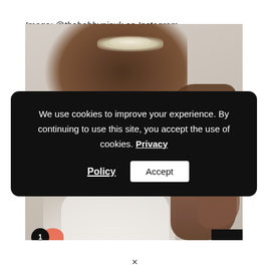Image: @thebobbypinuk on Instagram.
[Figure (photo): Back view of a bride or woman with brown wavy hair wearing a floral/pearl hair accessory/tiara, dressed in a white sheer off-shoulder gown. A cookie consent banner overlays the center of the image.]
We use cookies to improve your experience. By continuing to use this site, you accept the use of cookies. Privacy Policy  Accept